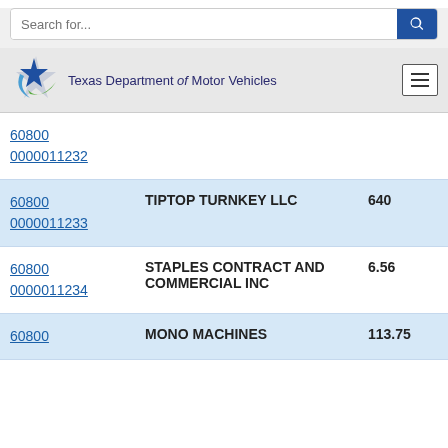Texas Department of Motor Vehicles
| ID / Doc Number | Vendor Name | Amount |
| --- | --- | --- |
| 60800
0000011232 |  |  |
| 60800
0000011233 | TIPTOP TURNKEY LLC | 640 |
| 60800
0000011234 | STAPLES CONTRACT AND COMMERCIAL INC | 6.56 |
| 60800
0000011235 (partial) | MONO MACHINES | 113.75 |